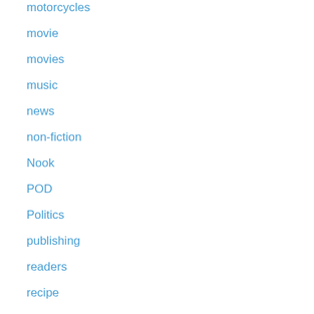motorcycles
movie
movies
music
news
non-fiction
Nook
POD
Politics
publishing
readers
recipe
review
Robert A. Heinlein
romance
roofing
sales
sci fi con
science
science fiction